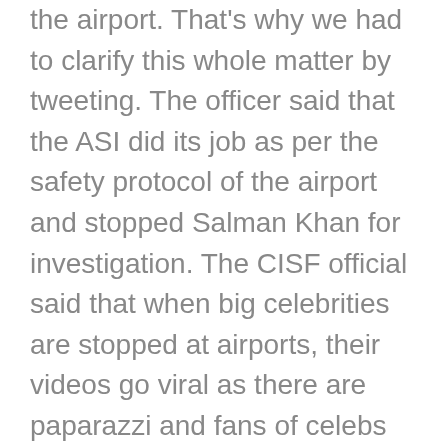the airport. That's why we had to clarify this whole matter by tweeting. The officer said that the ASI did its job as per the safety protocol of the airport and stopped Salman Khan for investigation. The CISF official said that when big celebrities are stopped at airports, their videos go viral as there are paparazzi and fans of celebs present, who make their photos and videos.